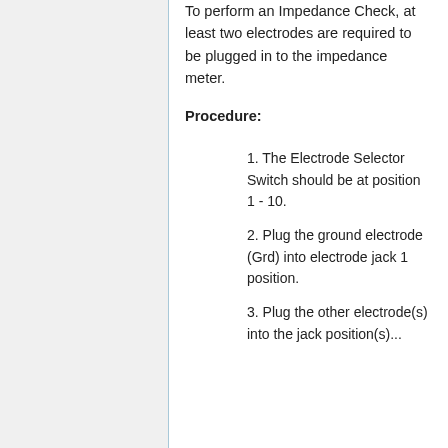To perform an Impedance Check, at least two electrodes are required to be plugged in to the impedance meter.
Procedure:
1. The Electrode Selector Switch should be at position 1 - 10.
2. Plug the ground electrode (Grd) into electrode jack 1 position.
3. Plug the other electrode(s) into the jack position(s)...